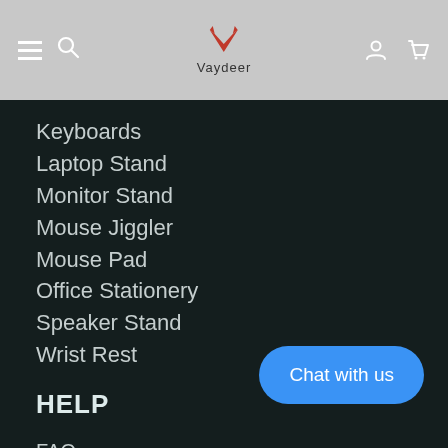[Figure (screenshot): Website navigation header with hamburger menu, search icon, Vaydeer logo (red deer antler icon with text), user profile icon, and cart icon on grey background]
Keyboards
Laptop Stand
Monitor Stand
Mouse Jiggler
Mouse Pad
Office Stationery
Speaker Stand
Wrist Rest
HELP
FAQ
Contact
Terms of Service
Shipping & Delivery
INTELLECTUAL PROPERTY RIGHTS